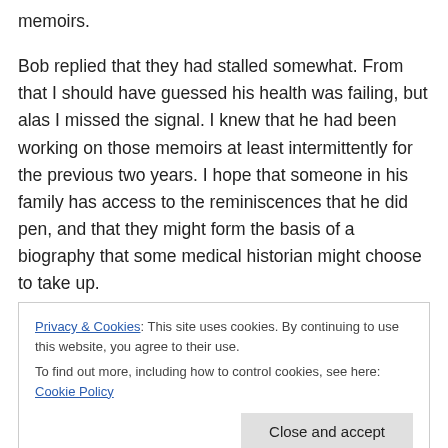memoirs.
Bob replied that they had stalled somewhat. From that I should have guessed his health was failing, but alas I missed the signal. I knew that he had been working on those memoirs at least intermittently for the previous two years. I hope that someone in his family has access to the reminiscences that he did pen, and that they might form the basis of a biography that some medical historian might choose to take up.
[Figure (screenshot): Cookie consent banner with text: 'Privacy & Cookies: This site uses cookies. By continuing to use this website, you agree to their use. To find out more, including how to control cookies, see here: Cookie Policy' and a 'Close and accept' button.]
directness, and at times he took on people and groups